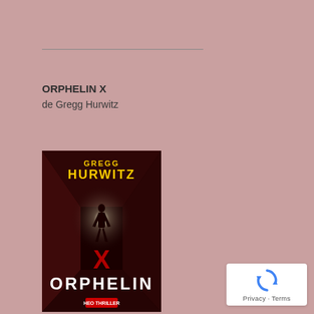ORPHELIN X
de Gregg Hurwitz
[Figure (photo): Book cover of 'Orphelin X' by Gregg Hurwitz. Dark red/crimson tunnel with bright white light at far end, silhouette of a person walking toward the light. Large yellow text 'GREGG HURWITZ' at top, large white/red text 'ORPHELIN X' at bottom. HEO Thriller imprint logo at bottom.]
[Figure (logo): Google reCAPTCHA badge with rotating arrows icon and 'Privacy - Terms' text below]